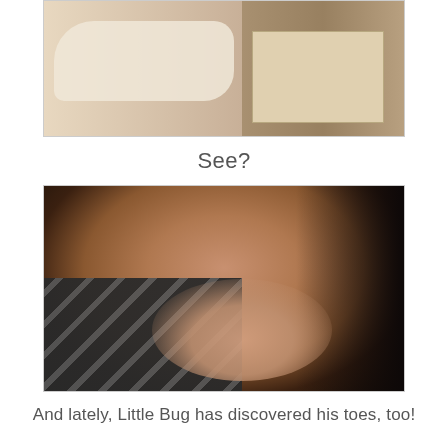[Figure (photo): Photo of a newborn baby lying in a hospital bassinet/crib, wrapped in white cloth, with medical equipment visible]
See?
[Figure (photo): Close-up photo of a young man wearing a brown and white striped shirt, resting his chin on his hands, looking at the camera with a thoughtful expression against a dark background]
And lately, Little Bug has discovered his toes, too!